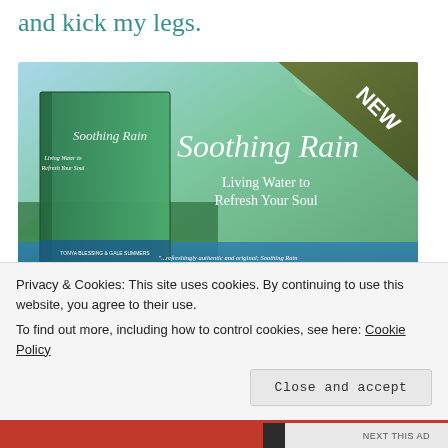and kick my legs.
[Figure (photo): Book advertisement for 'Soothing Rain: Living Water to Refresh Your Soul' by Tonya Blessing & Gale Summers. Shows book cover with green grass and water drops, with a quote from Brittany Carter. 'NEW' badge in corner.]
Soothing Rain is a devotional written by Tonya Blessing...
Privacy & Cookies: This site uses cookies. By continuing to use this website, you agree to their use.
To find out more, including how to control cookies, see here: Cookie Policy
Close and accept